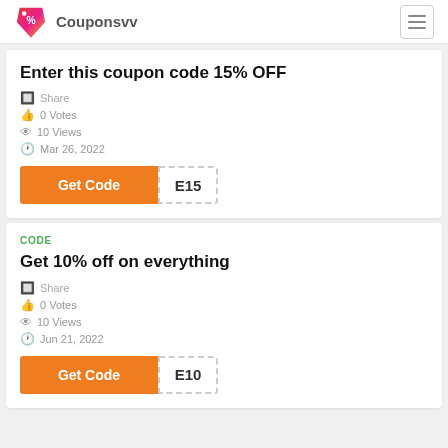Couponsvv
Enter this coupon code 15% OFF
Share
0 Votes
10 Views
Mar 26, 2022
Get Code E15
CODE
Get 10% off on everything
Share
0 Votes
10 Views
Jun 21, 2022
Get Code E10